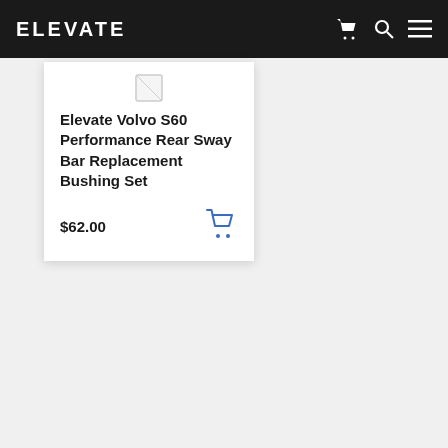ELEVATE
Elevate Volvo S60 Performance Rear Sway Bar Replacement Bushing Set
$62.00